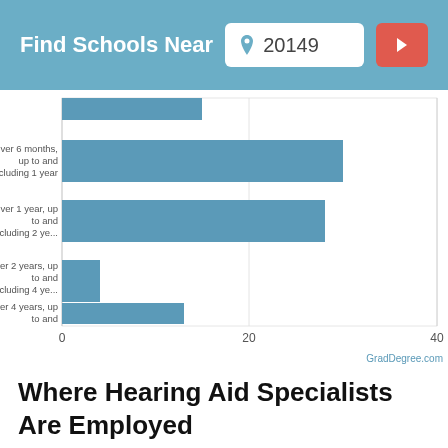Find Schools Near 20149
[Figure (bar-chart): ]
Where Hearing Aid Specialists Are Employed